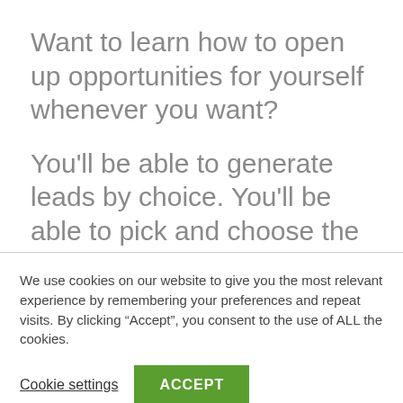Want to learn how to open up opportunities for yourself whenever you want?
You'll be able to generate leads by choice. You'll be able to pick and choose the types of companies you want to work with.
We use cookies on our website to give you the most relevant experience by remembering your preferences and repeat visits. By clicking “Accept”, you consent to the use of ALL the cookies.
Cookie settings
ACCEPT